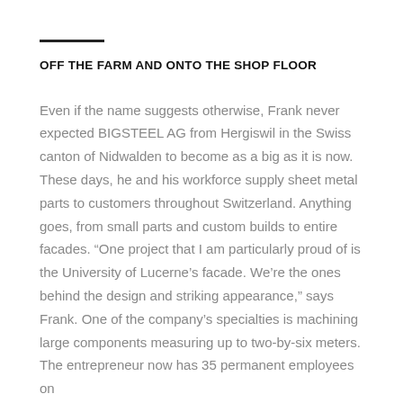OFF THE FARM AND ONTO THE SHOP FLOOR
Even if the name suggests otherwise, Frank never expected BIGSTEEL AG from Hergiswil in the Swiss canton of Nidwalden to become as a big as it is now. These days, he and his workforce supply sheet metal parts to customers throughout Switzerland. Anything goes, from small parts and custom builds to entire facades. “One project that I am particularly proud of is the University of Lucerne’s facade. We’re the ones behind the design and striking appearance,” says Frank. One of the company’s specialties is machining large components measuring up to two-by-six meters. The entrepreneur now has 35 permanent employees on